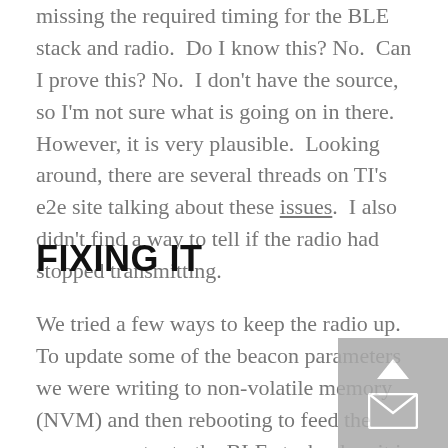missing the required timing for the BLE stack and radio.  Do I know this? No.  Can I prove this? No.  I don't have the source, so I'm not sure what is going on in there.  However, it is very plausible.  Looking around, there are several threads on TI's e2e site talking about these issues.  I also didn't find a way to tell if the radio had stopped transmitting.
FIXING IT
We tried a few ways to keep the radio up.  To update some of the beacon parameters we were writing to non-volatile memory (NVM) and then rebooting to feed the new parameter to the BLE stack when it is brought up.  We tried doing this for all the parameters, but found that we were likely to hang things by shoving characters into the serial bus when the device rebooted.